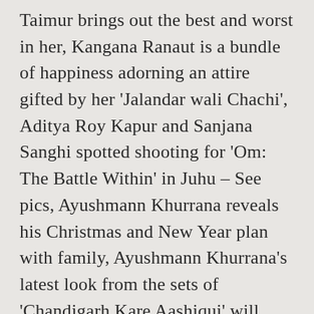Taimur brings out the best and worst in her, Kangana Ranaut is a bundle of happiness adorning an attire gifted by her 'Jalandar wali Chachi', Aditya Roy Kapur and Sanjana Sanghi spotted shooting for 'Om: The Battle Within' in Juhu – See pics, Ayushmann Khurrana reveals his Christmas and New Year plan with family, Ayushmann Khurrana's latest look from the sets of 'Chandigarh Kare Aashiqui' will have you crushing hard, Deepa Mehta's 'Funny Boy' rejected for Oscar nomination, Jennifer Aniston reminds fans about self-love in latest post, Millie Bobby Brown to star in sci-fi film 'The Electric State', Khloe Kardashian showcases her toned midriff in recent post, Katie Holmes makes her relationship with Chef Vitolo